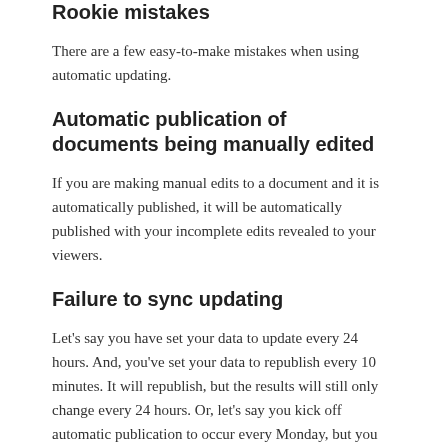Rookie mistakes
There are a few easy-to-make mistakes when using automatic updating.
Automatic publication of documents being manually edited
If you are making manual edits to a document and it is automatically published, it will be automatically published with your incomplete edits revealed to your viewers.
Failure to sync updating
Let's say you have set your data to update every 24 hours. And, you've set your data to republish every 10 minutes. It will republish, but the results will still only change every 24 hours. Or, let's say you kick off automatic publication to occur every Monday, but you have automatic updating of the data on Wednesday. The published changes will only publish on Monday, but the data